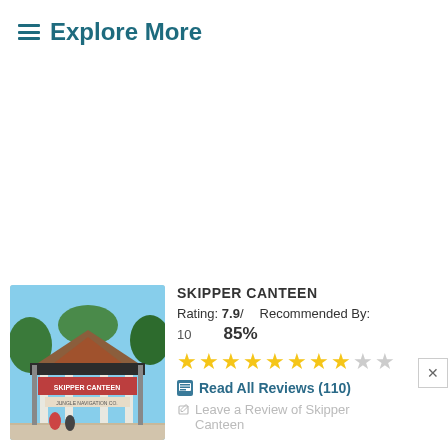≡ Explore More
[Figure (photo): Exterior photo of the Skipper Canteen restaurant entrance with signage]
SKIPPER CANTEEN
Rating: 7.9 /    Recommended By:
10    85%
[Figure (other): Star rating display: 8 out of 10 stars (8 gold, 2 gray)]
Read All Reviews (110)
Leave a Review of Skipper Canteen